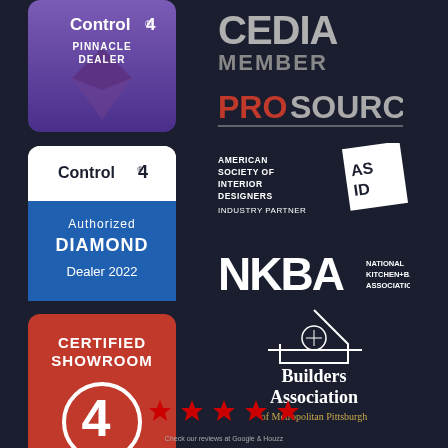[Figure (logo): Control4 Pinnacle Dealer badge — purple gradient background with Control4 logo and text PINNACLE DEALER]
[Figure (logo): CEDIA Member logo — white/gray text on dark background]
[Figure (logo): ProSource logo — PRO in orange/red, SOURCE in white/gray]
[Figure (logo): Control4 Authorized Diamond Dealer 2022 badge — white top with Control4 logo, blue lower section]
[Figure (logo): American Society of Interior Designers Industry Partner logo — white text with ASID letters badge]
[Figure (logo): NKBA National Kitchen+Bath Association logo — white bold NKBA letters with text]
[Figure (logo): Control4 Certified Showroom badge — red background with white C4 symbol]
[Figure (logo): Builders Association of Metropolitan Pittsburgh — white house/compass logo, gold and white text]
[Figure (other): Five red star rating icons in a row at the bottom of the page]